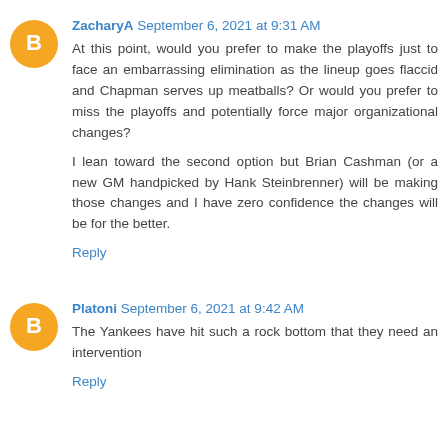ZacharyA September 6, 2021 at 9:31 AM
At this point, would you prefer to make the playoffs just to face an embarrassing elimination as the lineup goes flaccid and Chapman serves up meatballs? Or would you prefer to miss the playoffs and potentially force major organizational changes?
I lean toward the second option but Brian Cashman (or a new GM handpicked by Hank Steinbrenner) will be making those changes and I have zero confidence the changes will be for the better.
Reply
Platoni September 6, 2021 at 9:42 AM
The Yankees have hit such a rock bottom that they need an intervention
Reply